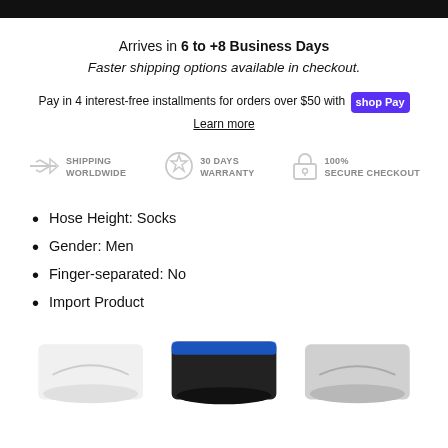Arrives in 6 to +8 Business Days
Faster shipping options available in checkout.
Pay in 4 interest-free installments for orders over $50 with shopPay
Learn more
[Figure (infographic): Three trust badges: Shipping Worldwide (airplane icon), 30 Days Warranty (star badge icon), 100% Secure Checkout (padlock icon)]
Hose Height: Socks
Gender: Men
Finger-separated: No
Import Product
[Figure (photo): Three Nike socks displayed side by side: white, black/blue, and grey colorways]